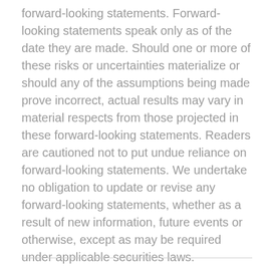forward-looking statements. Forward-looking statements speak only as of the date they are made. Should one or more of these risks or uncertainties materialize or should any of the assumptions being made prove incorrect, actual results may vary in material respects from those projected in these forward-looking statements. Readers are cautioned not to put undue reliance on forward-looking statements. We undertake no obligation to update or revise any forward-looking statements, whether as a result of new information, future events or otherwise, except as may be required under applicable securities laws.